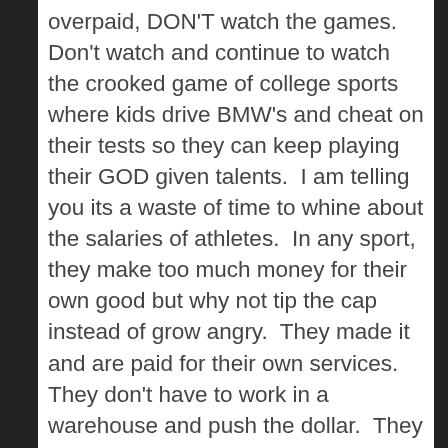overpaid, DON'T watch the games.  Don't watch and continue to watch the crooked game of college sports where kids drive BMW's and cheat on their tests so they can keep playing their GOD given talents.  I am telling you its a waste of time to whine about the salaries of athletes.  In any sport, they make too much money for their own good but why not tip the cap instead of grow angry.  They made it and are paid for their own services.  They don't have to work in a warehouse and push the dollar.  They had a talent and didn't waste it, and when the owners and agents opened the door to being millionaires they took it with ease.  Why not?  Complain about Wainwright's deal all you want but remember 20 other arms in baseball